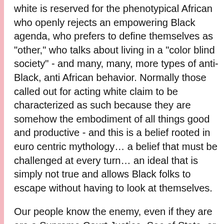white is reserved for the phenotypical African who openly rejects an empowering Black agenda, who prefers to define themselves as "other," who talks about living in a "color blind society" - and many, many, more types of anti-Black, anti African behavior. Normally those called out for acting white claim to be characterized as such because they are somehow the embodiment of all things good and productive - and this is a belief rooted in euro centric mythology… a belief that must be challenged at every turn… an ideal that is simply not true and allows Black folks to escape without having to look at themselves.
Our people know the enemy, even if they are are a Supreme Court Justice, Sec of State, or Chairman of the Joints Chief of Staff. We know when we are around self loathing, self deprecating negroes who define themselves through the blue eyes of